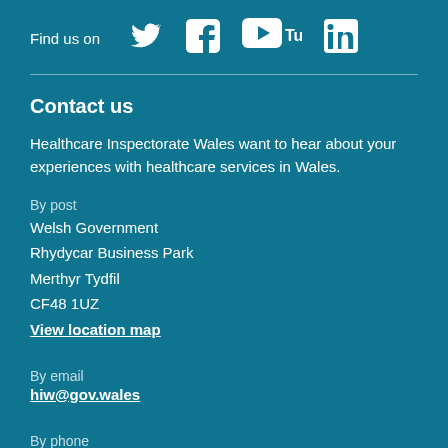Find us on [Twitter] [Facebook] [YouTube] [LinkedIn]
Contact us
Healthcare Inspectorate Wales want to hear about your experiences with healthcare services in Wales.
By post
Welsh Government
Rhydycar Business Park
Merthyr Tydfil
CF48 1UZ
View location map
By email
hiw@gov.wales
By phone
0300 062 8163